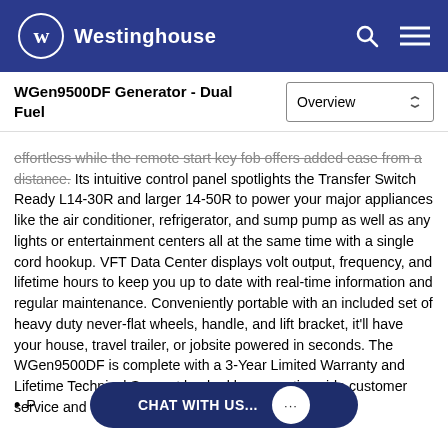Westinghouse
WGen9500DF Generator - Dual Fuel
effortless while the remote start key fob offers added ease from a distance. Its intuitive control panel spotlights the Transfer Switch Ready L14-30R and larger 14-50R to power your major appliances like the air conditioner, refrigerator, and sump pump as well as any lights or entertainment centers all at the same time with a single cord hookup. VFT Data Center displays volt output, frequency, and lifetime hours to keep you up to date with real-time information and regular maintenance. Conveniently portable with an included set of heavy duty never-flat wheels, handle, and lift bracket, it'll have your house, travel trailer, or jobsite powered in seconds. The WGen9500DF is complete with a 3-Year Limited Warranty and Lifetime Technical Support backed by our nationwide customer service and support network.
Perfect for larger homes or a...